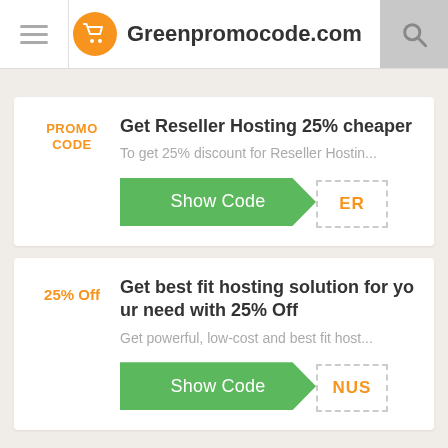Greenpromocode.com
Get Reseller Hosting 25% cheaper
To get 25% discount for Reseller Hostin...
Show Code ER
Get best fit hosting solution for your need with 25% Off
Get powerful, low-cost and best fit host...
Show Code NUS